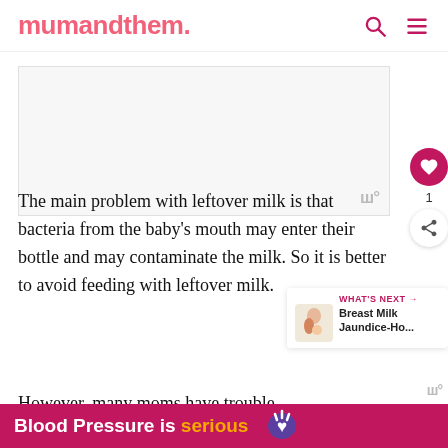mumandthem.
[Figure (illustration): White/blank image placeholder area with a watermark symbol in the bottom right corner]
The main problem with leftover milk is that bacteria from the baby's mouth may enter their bottle and may contaminate the milk. So it is better to avoid feeding with leftover milk.
[Figure (illustration): What's Next panel: small illustration of a mother breastfeeding with text 'WHAT'S NEXT → Breast Milk Jaundice-Ho...']
However, many moms have trouble
[Figure (infographic): Bottom ad banner: pink background with text 'Blood Pressure is serious' and a purple heart icon with lightning bolts]